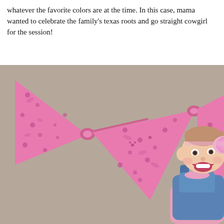whatever the favorite colors are at the time. In this case, mama wanted to celebrate the family's texas roots and go straight cowgirl for the session!
[Figure (photo): A baby girl smiling and wearing a pink floral headband and denim overalls with a pink shirt underneath, in front of a taupe/brown background with pink bandana bunting hanging as decoration. The bandanas are folded into triangles and tied together.]